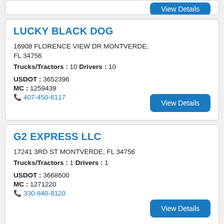LUCKY BLACK DOG
16908 FLORENCE VIEW DR MONTVERDE, FL 34756
Trucks/Tractors : 10 Drivers : 10
USDOT : 3652396
MC : 1259439
407-450-6117
G2 EXPRESS LLC
17241 3RD ST MONTVERDE, FL 34756
Trucks/Tractors : 1 Drivers : 1
USDOT : 3668600
MC : 1271220
330-840-8120